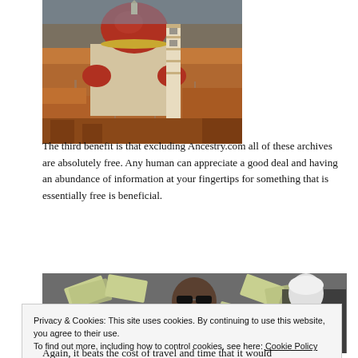[Figure (photo): Aerial view of Florence, Italy showing the Cathedral of Santa Maria del Fiore (Duomo) with its iconic red brick dome, surrounded by the city's rooftops]
The third benefit is that excluding Ancestry.com all of these archives are absolutely free. Any human can appreciate a good deal and having an abundance of information at your fingertips for something that is essentially free is beneficial.
[Figure (photo): Photo of a person throwing money/cash bills in the air, wearing sunglasses]
Privacy & Cookies: This site uses cookies. By continuing to use this website, you agree to their use.
To find out more, including how to control cookies, see here: Cookie Policy
Again, it beats the cost of travel and time that it would